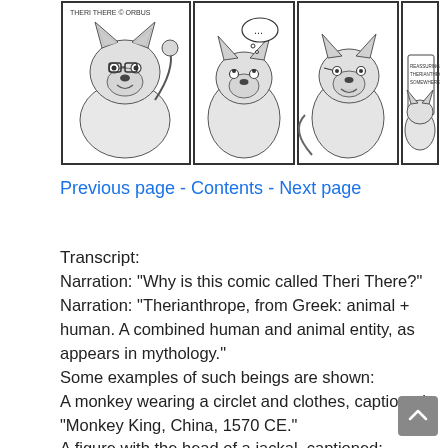[Figure (illustration): A four-panel comic strip showing anthropomorphic wolf/fox characters. The panels depict characters with speech/thought bubbles discussing the comic name 'Theri There'. The last panel has a text box reading 'REASSURING THERIANTHROPES SOMEWHERE NOW'.]
Previous page - Contents - Next page
Transcript:
Narration: "Why is this comic called Theri There?"
Narration: "Therianthrope, from Greek: animal + human. A combined human and animal entity, as appears in mythology."
Some examples of such beings are shown:
A monkey wearing a circlet and clothes, captioned: "Monkey King, China, 1570 CE."
A figure with the head of a jackal, captioned: "Anubis, Egypt, 4000 BCE."
A creature with the face, hands, and feet of a human, and the body of a stag, captioned: "A stag man, Les Trois Frères, 13000 BCE."